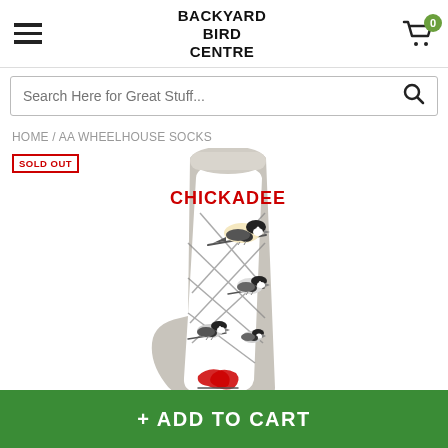Backyard Bird Centre
Search Here for Great Stuff...
HOME / AA WHEELHOUSE SOCKS
[Figure (photo): A grey knitted sock featuring chickadee birds perched on branches in a lattice pattern, with the word CHICKADEE in red at the top and red berries near the bottom.]
SOLD OUT
+ ADD TO CART